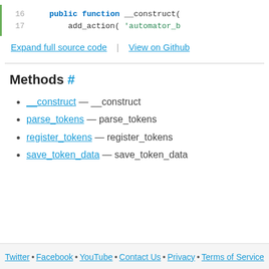[Figure (screenshot): Code snippet showing lines 16 and 17 of PHP code. Line 16: public function __construct( — Line 17: add_action( 'automator_b]
Expand full source code | View on Github
Methods #
__construct — __construct
parse_tokens — parse_tokens
register_tokens — register_tokens
save_token_data — save_token_data
Twitter • Facebook • YouTube • Contact Us • Privacy • Terms of Service